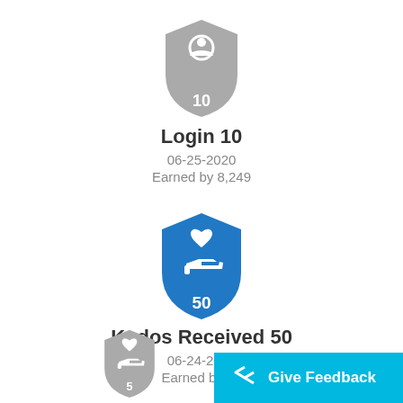[Figure (illustration): Gray shield badge with a person/user icon and number 10 at the bottom]
Login 10
06-25-2020
Earned by 8,249
[Figure (illustration): Blue shield badge with a heart and hand (kudos) icon and number 50 at the bottom]
Kudos Received 50
06-24-2020
Earned by 61
[Figure (illustration): Gray shield badge with a heart and hand icon and number 5 at the bottom (partially visible)]
Give Feedback